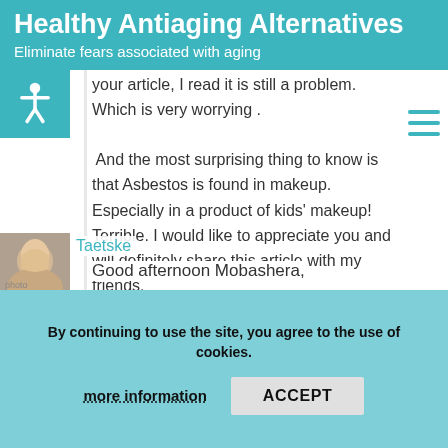Healthy Antiaging Alternatives
Eliminate fears associated with aging
your article, I read it is still a problem. Which is very worrying .

And the most surprising thing to know is that Asbestos is found in makeup.  Especially in a product of kids' makeup! Terrible. I would like to appreciate you and will definitely share this article with my friends.
Jan 20,2020 | 05:07 pm
Reply
By continuing to use the site, you agree to the use of cookies.
more information
ACCEPT
Taetske
Good afternoon Mobashera,